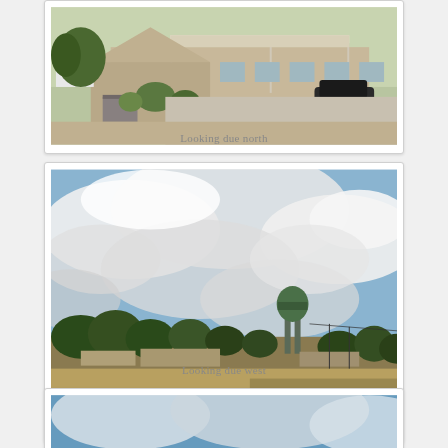[Figure (photo): Photo of a single-story building with covered carport, a car parked, sign visible at left, desert landscaping, looking due north]
Looking due north
[Figure (photo): Wide landscape photo showing an open field with trees in the distance, a green water tower visible, and a large cloudy sky, looking due west]
Looking due west
[Figure (photo): Partially visible photo showing a blue sky with clouds, bottom portion cropped]